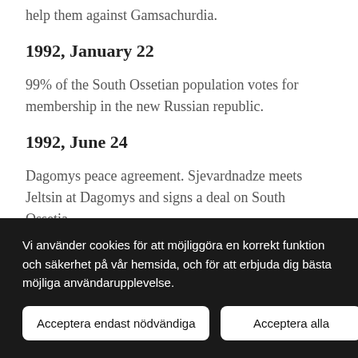help them against Gamsachurdia.
1992, January 22
99% of the South Ossetian population votes for membership in the new Russian republic.
1992, June 24
Dagomys peace agreement. Sjevardnadze meets Jeltsin at Dagomys and signs a deal on South Ossetia. In reality Tschinvali goes into a state of blockade as a
Vi använder cookies för att möjliggöra en korrekt funktion och säkerhet på vår hemsida, och för att erbjuda dig bästa möjliga användarupplevelse.
Acceptera endast nödvändiga
Acceptera alla